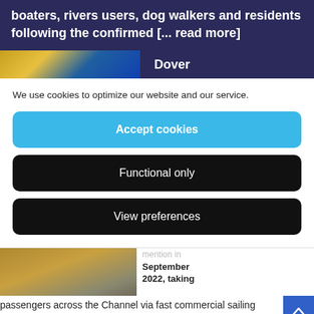boaters, rivers users, dog walkers and residents following the confirmed [... read more]
[Figure (photo): Partial photo of a boat/vessel with yellow and blue colors, and text label 'Dover' to the right]
We use cookies to optimize our website and our service.
Accept cookies
Functional only
View preferences
[Figure (photo): Partial photo of a boat deck/floor with brown tones, and partial text to the right reading: '...mention in September 2022, taking']
passengers across the Channel via fast commercial sailing catamarans. SailLink will shortly be transiting